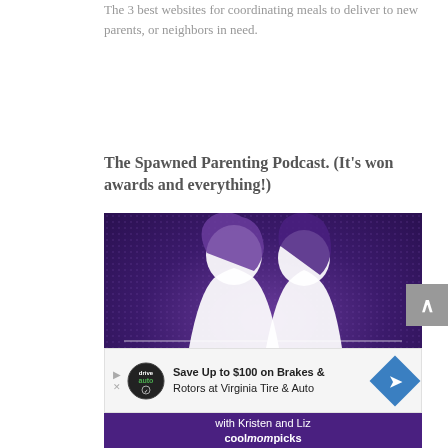The 3 best websites for coordinating meals to deliver to new parents, or neighbors in need.
The Spawned Parenting Podcast. (It's won awards and everything!)
[Figure (photo): The Spawned Parenting Podcast promotional image with two women silhouetted against a purple background, with the word SPAWNED at the bottom and text 'with Kristen and Liz of coolmompicks']
[Figure (other): Advertisement banner: Save Up to $100 on Brakes & Rotors at Virginia Tire & Auto, with Drive Auto logo and blue diamond arrow icon]